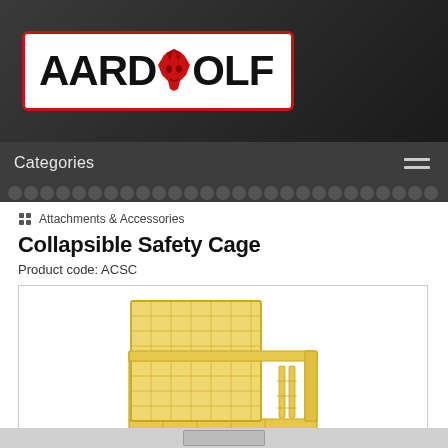[Figure (logo): Aardwolf company logo with red wolf head between AARD and OLF text, white background with red border]
Categories
⠿ Attachments & Accessories
Collapsible Safety Cage
Product code: ACSC
[Figure (photo): Yellow steel collapsible safety cage/work platform with mesh back wall and sides, designed for forklift use, photographed on white background]